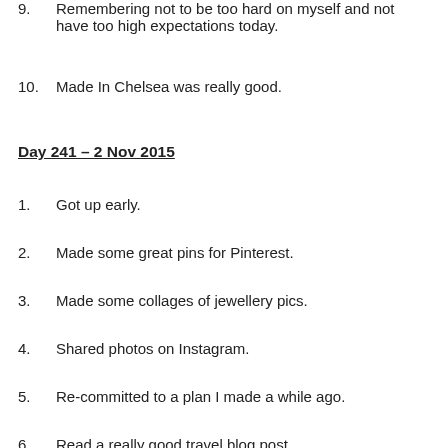9.  Remembering not to be too hard on myself and not have too high expectations today.
10.  Made In Chelsea was really good.
Day 241 – 2 Nov 2015
1.  Got up early.
2.  Made some great pins for Pinterest.
3.  Made some collages of jewellery pics.
4.  Shared photos on Instagram.
5.  Re-committed to a plan I made a while ago.
6.  Read a really good travel blog post.